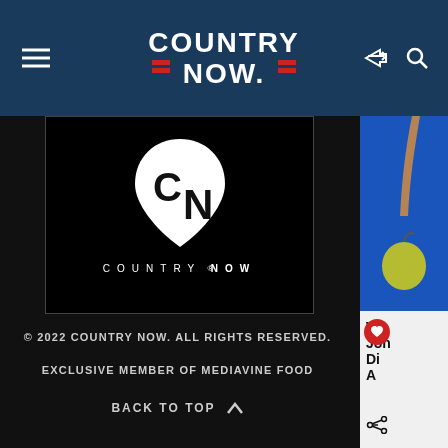COUNTRY NOW
[Figure (logo): Country Now guitar pick logo on black background with text 'COUNTRY NOW' below]
© 2022 COUNTRY NOW. ALL RIGHTS RESERVED.
EXCLUSIVE MEMBER OF MEDIAVINE FOOD
BACK TO TOP ^
[Figure (photo): Partial image on right side showing blue background with hand and fruit]